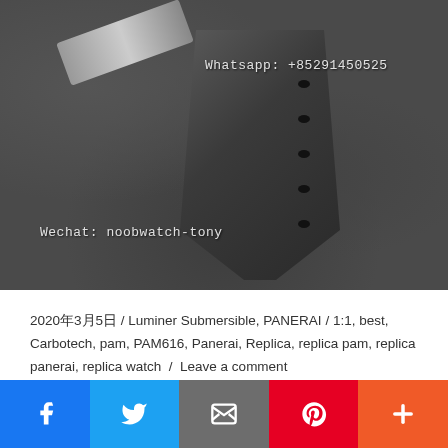[Figure (photo): Close-up photo of a dark gray/black Panerai Carbotech watch strap lying on a textured dark leather surface. The rubber/composite strap has multiple oval holes and a metal clasp/buckle visible at the top. Watermark text overlaid: 'Whatsapp: +85291450525' at top right and 'Wechat: noobwatch-tony' at bottom left.]
2020年3月5日 / Luminer Submersible, PANERAI / 1:1, best, Carbotech, pam, PAM616, Panerai, Replica, replica pam, replica panerai, replica watch / Leave a comment